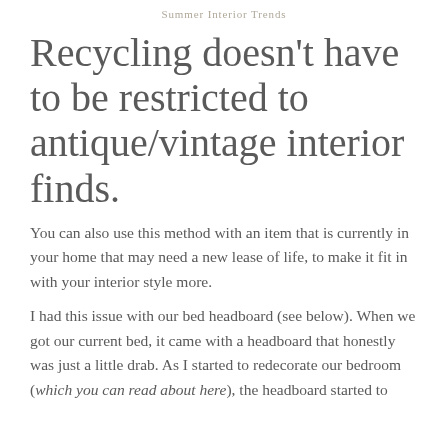Summer Interior Trends
Recycling doesn't have to be restricted to antique/vintage interior finds.
You can also use this method with an item that is currently in your home that may need a new lease of life, to make it fit in with your interior style more.
I had this issue with our bed headboard (see below). When we got our current bed, it came with a headboard that honestly was just a little drab. As I started to redecorate our bedroom (which you can read about here), the headboard started to